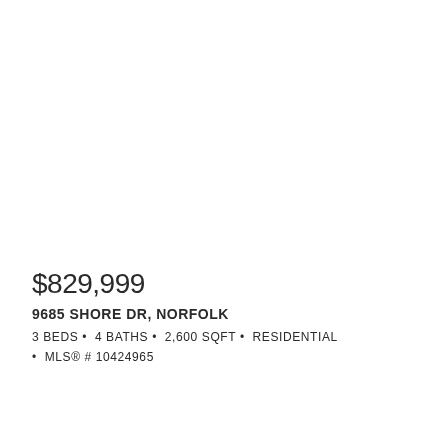$829,999
9685 SHORE DR, NORFOLK
3 BEDS • 4 BATHS • 2,600 SQFT • RESIDENTIAL • MLS® # 10424965